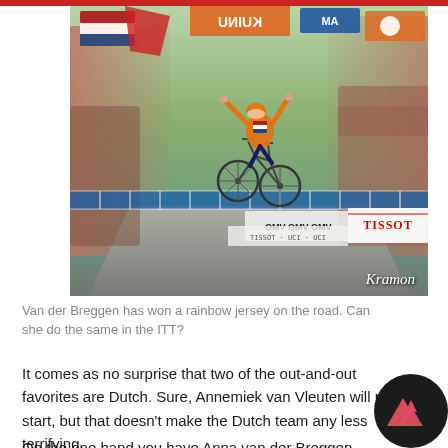[Figure (photo): A female cyclist crossing the finish line with arms raised in victory, wearing an orange Dutch national team jersey and helmet. She is surrounded by a cheering crowd waving flags including Dutch orange flags and other national flags. Sponsor banners including Tissot and other brands line the finish area. Photo credit: Kramon.]
Van der Breggen has won a rainbow jersey on the road. Can she do the same in the ITT?
It comes as no surprise that two of the out-and-out favorites are Dutch. Sure, Annemiek van Vleuten will not start, but that doesn't make the Dutch team any less terrifying.
On the one hand you have Anna van der Breggen, fresh